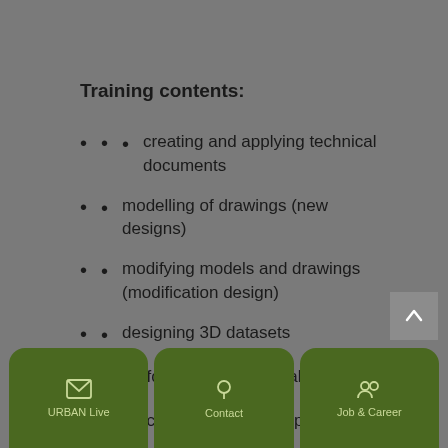Training contents:
creating and applying technical documents
modelling of drawings (new designs)
modifying models and drawings (modification design)
designing 3D datasets
performing technical calculations
processing orders independently
planning and organizing workflows
performing presentations and simulations
URBAN Live | Contact | Job & Career